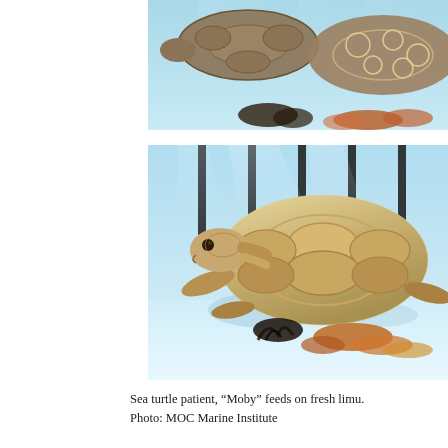[Figure (photo): Underwater photo showing two sea turtles from above with blue water background, colorful seaweed/limu on the bottom, one turtle partially visible at top, another at right edge]
[Figure (photo): Underwater photo of a sea turtle named Moby, viewed from the side, swimming close to the white pool floor with dark vertical bars in background, orange and dark seaweed/limu on the bottom]
Sea turtle patient, “Moby” feeds on fresh limu.
Photo: MOC Marine Institute